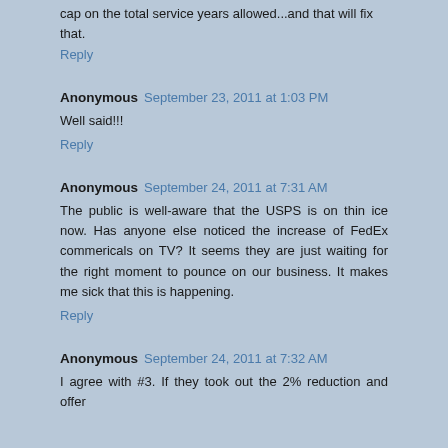cap on the total service years allowed...and that will fix that.
Reply
Anonymous September 23, 2011 at 1:03 PM
Well said!!!
Reply
Anonymous September 24, 2011 at 7:31 AM
The public is well-aware that the USPS is on thin ice now. Has anyone else noticed the increase of FedEx commericals on TV? It seems they are just waiting for the right moment to pounce on our business. It makes me sick that this is happening.
Reply
Anonymous September 24, 2011 at 7:32 AM
I agree with #3. If they took out the 2% reduction and offer